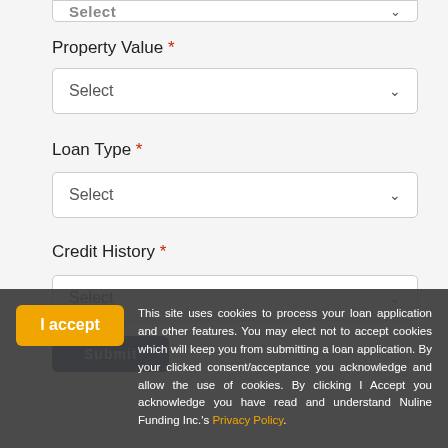Select (top truncated dropdown)
Property Value *
Select
Loan Type *
Select
Credit History *
Select
Submit
I accept
This site uses cookies to process your loan application and other features. You may elect not to accept cookies which will keep you from submitting a loan application. By your clicked consent/acceptance you acknowledge and allow the use of cookies. By clicking I Accept you acknowledge you have read and understand Nuline Funding Inc.'s Privacy Policy.